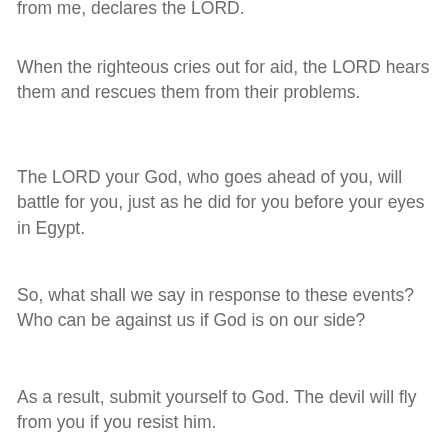from me, declares the LORD.
When the righteous cries out for aid, the LORD hears them and rescues them from their problems.
The LORD your God, who goes ahead of you, will battle for you, just as he did for you before your eyes in Egypt.
So, what shall we say in response to these events? Who can be against us if God is on our side?
As a result, submit yourself to God. The devil will fly from you if you resist him.
Fear not, for I am with you; be not discouraged, for I am your God; I will strengthen, assist, and uphold you with my